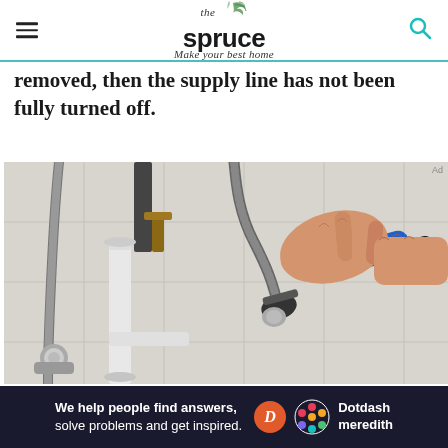the spruce — Make your best home
removed, then the supply line has not been fully turned off.
[Figure (photo): A hand holding a blue-handled basin wrench underneath a sink, working on water supply lines. White PVC pipe trap, chrome braided supply lines, and white tile wall visible in background.]
Ad
We help people find answers, solve problems and get inspired. Dotdash meredith